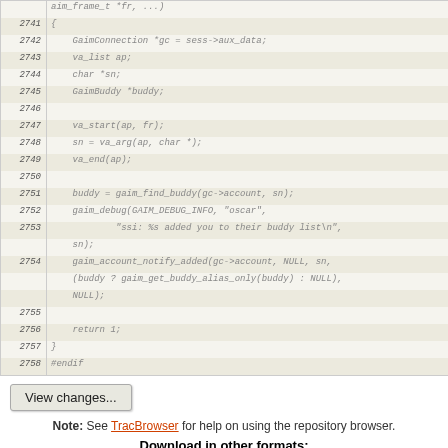[Figure (screenshot): Code viewer showing C source code lines 2741-2758 with line numbers on left and code on right, alternating light/dark row background colors. Code is in italic monospace gray font.]
View changes...
Note: See TracBrowser for help on using the repository browser.
Download in other formats:
Plain Text | Original Format
Powered by Trac 1.0.2 By Edgewall Software. The photo in the BarnOwl logo is from Steve Brace on Flickr and used under CC-BY